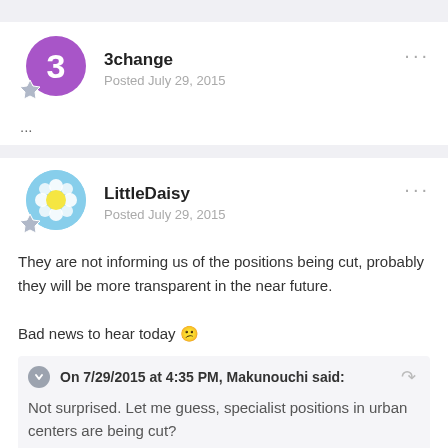3change
Posted July 29, 2015
...
LittleDaisy
Posted July 29, 2015
They are not informing us of the positions being cut, probably they will be more transparent in the near future.

Bad news to hear today 😕
On 7/29/2015 at 4:35 PM, Makunouchi said:

Not surprised. Let me guess, specialist positions in urban centers are being cut?